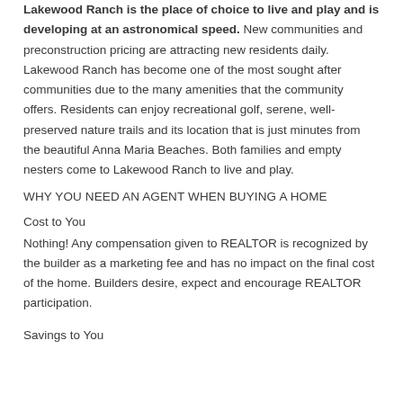Lakewood Ranch is the place of choice to live and play and is developing at an astronomical speed. New communities and preconstruction pricing are attracting new residents daily. Lakewood Ranch has become one of the most sought after communities due to the many amenities that the community offers. Residents can enjoy recreational golf, serene, well-preserved nature trails and its location that is just minutes from the beautiful Anna Maria Beaches. Both families and empty nesters come to Lakewood Ranch to live and play.
WHY YOU NEED AN AGENT WHEN BUYING A HOME
Cost to You
Nothing! Any compensation given to REALTOR is recognized by the builder as a marketing fee and has no impact on the final cost of the home. Builders desire, expect and encourage REALTOR participation.
Savings to You